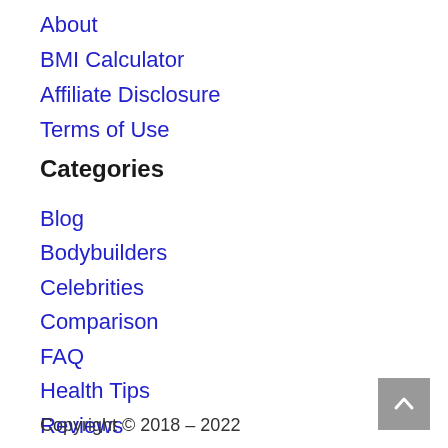About
BMI Calculator
Affiliate Disclosure
Terms of Use
Categories
Blog
Bodybuilders
Celebrities
Comparison
FAQ
Health Tips
Reviews
Copyright © 2018 – 2022